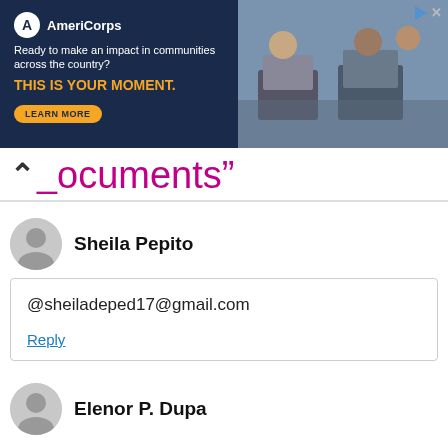[Figure (screenshot): AmeriCorps advertisement banner with dark navy background, logo, tagline 'Ready to make an impact in communities across the country?', bold orange text 'THIS IS YOUR MOMENT.', a LEARN MORE button, and a photo of students at computers on the right side.]
ocuments”
Sheila Pepito
@sheiladeped17@gmail.com
Reply
Elenor P. Dupa